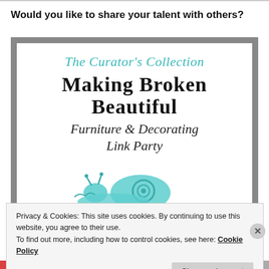Would you like to share your talent with others?
[Figure (illustration): Promotional graphic for 'The Curator's Collection – Making Broken Beautiful Furniture & Decorating Link Party' with a teal/turquoise decorative snail illustration on a white card with gray border]
Privacy & Cookies: This site uses cookies. By continuing to use this website, you agree to their use.
To find out more, including how to control cookies, see here: Cookie Policy
Close and accept